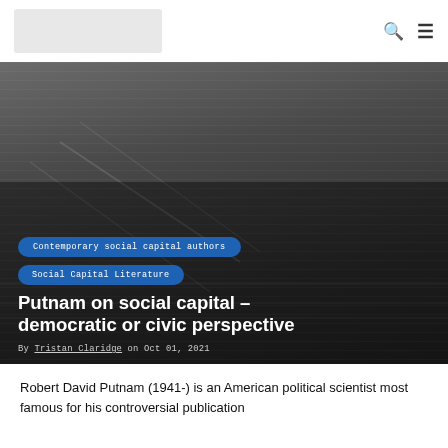[Logo] [Search icon] [Menu icon]
[Figure (photo): Grayscale photo of a crowd of people on stairs inside a large public building, viewed from above]
Contemporary social capital authors
Social Capital Literature
Putnam on social capital – democratic or civic perspective
By Tristan Claridge on Oct 01, 2021
Robert David Putnam (1941-) is an American political scientist most famous for his controversial publication